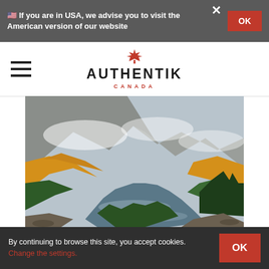🇺🇸 If you are in USA, we advise you to visit the American version of our website
[Figure (logo): Authentik Canada logo with red maple leaf above the text]
[Figure (photo): Scenic autumn landscape with a river winding through mountains, yellow and green trees, misty peaks in the background]
By continuing to browse this site, you accept cookies. Change the settings.